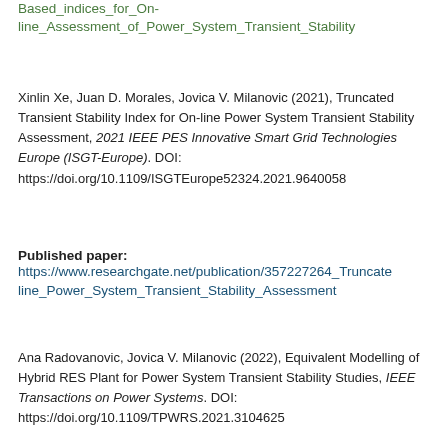Based_indices_for_On-line_Assessment_of_Power_System_Transient_Stability
Xinlin Xe, Juan D. Morales, Jovica V. Milanovic (2021), Truncated Transient Stability Index for On-line Power System Transient Stability Assessment, 2021 IEEE PES Innovative Smart Grid Technologies Europe (ISGT-Europe). DOI: https://doi.org/10.1109/ISGTEurope52324.2021.9640058
Published paper: https://www.researchgate.net/publication/357227264_Truncate... line_Power_System_Transient_Stability_Assessment
Ana Radovanovic, Jovica V. Milanovic (2022), Equivalent Modelling of Hybrid RES Plant for Power System Transient Stability Studies, IEEE Transactions on Power Systems. DOI: https://doi.org/10.1109/TPWRS.2021.3104625